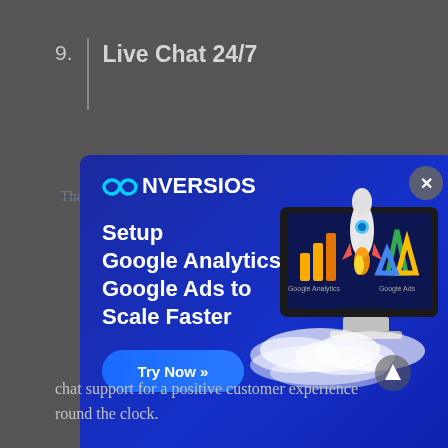9.  Live Chat 24/7
The Live Chat 24/7 plugin provides...
[Figure (screenshot): Conversios advertisement modal with dark blue gradient background. Shows Conversios logo at top left, headline 'Setup Google Analytics & Google Ads to Scale Faster', a 'Try Now >>' button, and an illustration of a computer monitor displaying Google Analytics and Google Ads logos with a rocket launching. Close button (X) in top right corner.]
chat support for a positive customer experience round the clock.